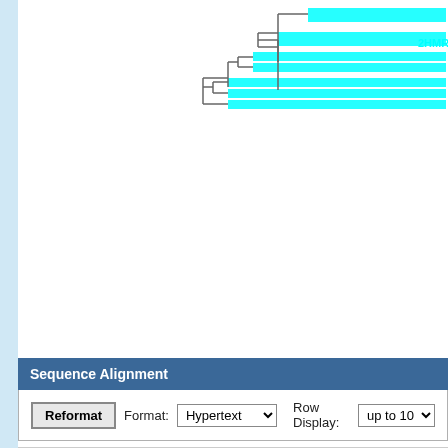[Figure (other): Partial phylogenetic dendrogram / tree visualization showing branching lines with cyan/turquoise highlighted sequence alignment bars. The tree branches are shown in gray lines on a white background, with wide horizontal cyan bars indicating sequence regions. Text label '2HMR' partially visible at right edge.]
Sequence Alignment
Reformat  Format: Hypertext  Row Display: up to 10